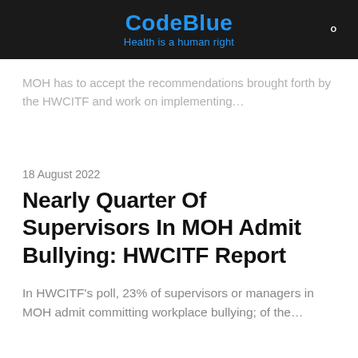CodeBlue
Health is a human right
MOH has to accept the recommendations brought forth by the HWCITF and work on implementing…
18 August 2022
Nearly Quarter Of Supervisors In MOH Admit Bullying: HWCITF Report
In HWCITF's poll, 23% of supervisors or managers in MOH admit committing workplace bullying; of the…